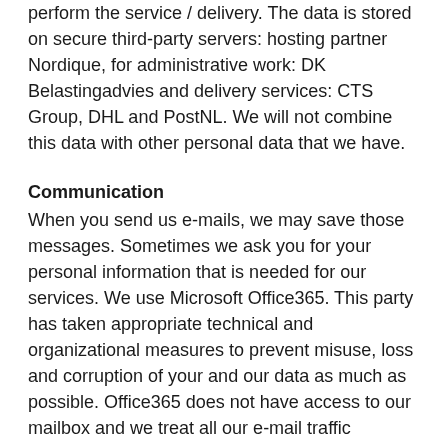perform the service / delivery. The data is stored on secure third-party servers: hosting partner Nordique, for administrative work: DK Belastingadvies and delivery services: CTS Group, DHL and PostNL. We will not combine this data with other personal data that we have.
Communication
When you send us e-mails, we may save those messages. Sometimes we ask you for your personal information that is needed for our services. We use Microsoft Office365. This party has taken appropriate technical and organizational measures to prevent misuse, loss and corruption of your and our data as much as possible. Office365 does not have access to our mailbox and we treat all our e-mail traffic confidentially. We will not combine this information with any other personal information we have.
Cookies